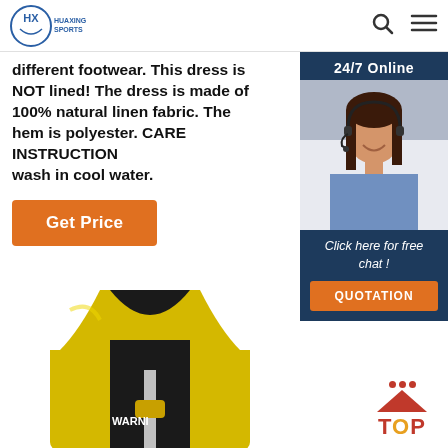HUAXING SPORTS
different footwear. This dress is NOT lined! The dress is made of 100% natural linen fabric. The hem is polyester. CARE INSTRUCTIONS: wash in cool water.
Get Price
24/7 Online
[Figure (photo): Customer service representative woman with headset smiling]
Click here for free chat !
QUOTATION
[Figure (photo): Yellow neoprene vest/jacket with WARNING label visible, shown from front]
[Figure (illustration): TOP button with red arrow pointing up and red dots above]